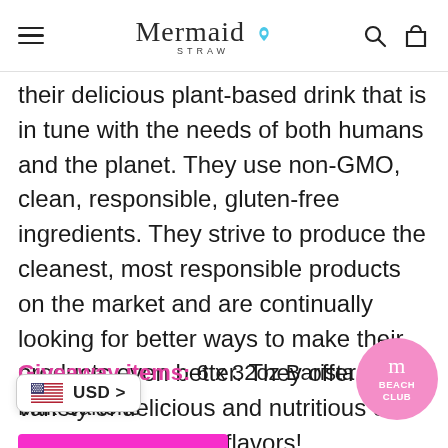Mermaid Straw
their delicious plant-based drink that is in tune with the needs of both humans and the planet. They use non-GMO, clean, responsible, gluten-free ingredients. They strive to produce the cleanest, most responsible products on the market and are continually looking for better ways to make their products even better. They offer a variety of delicious and nutritious oat milk and ice cream flavors!
Giveaway items: 6 x 32oz Barista Edition Oat Milk Cartons